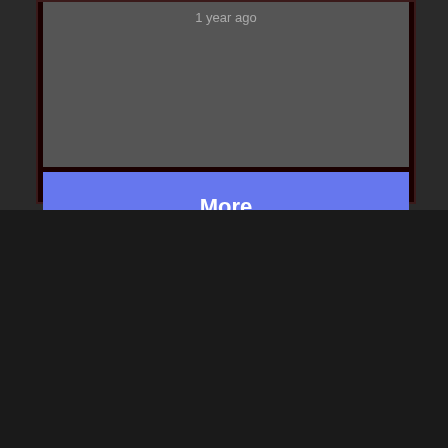1 year ago
More
Features
Overview
Discover
Platforms
Observatories
Gallery